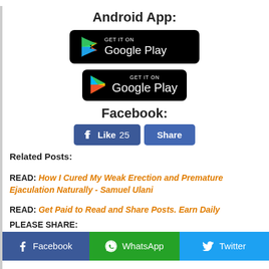Android App:
[Figure (logo): Get it on Google Play badge - black rounded rectangle with Play Store logo and text]
Facebook:
[Figure (infographic): Facebook Like 25 and Share buttons in blue]
Related Posts:
READ: How I Cured My Weak Erection and Premature Ejaculation Naturally - Samuel Ulani
READ: Get Paid to Read and Share Posts. Earn Daily
PLEASE SHARE:
[Figure (infographic): Social share buttons: Facebook (blue), WhatsApp (green), Twitter (light blue)]